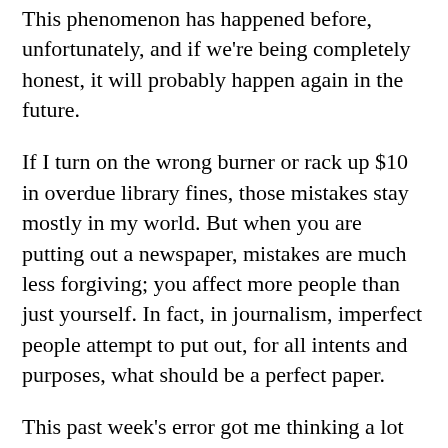This phenomenon has happened before, unfortunately, and if we're being completely honest, it will probably happen again in the future.
If I turn on the wrong burner or rack up $10 in overdue library fines, those mistakes stay mostly in my world. But when you are putting out a newspaper, mistakes are much less forgiving; you affect more people than just yourself. In fact, in journalism, imperfect people attempt to put out, for all intents and purposes, what should be a perfect paper.
This past week's error got me thinking a lot about names and why authorship, on any written word, is so important.